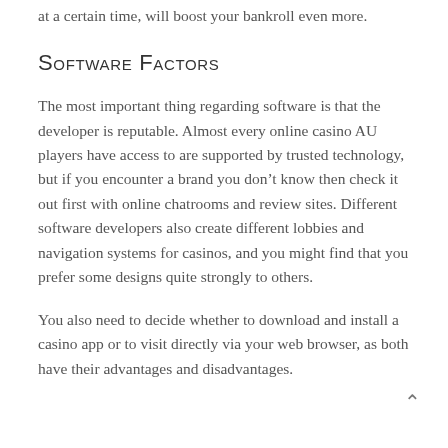at a certain time, will boost your bankroll even more.
Software Factors
The most important thing regarding software is that the developer is reputable. Almost every online casino AU players have access to are supported by trusted technology, but if you encounter a brand you don't know then check it out first with online chatrooms and review sites. Different software developers also create different lobbies and navigation systems for casinos, and you might find that you prefer some designs quite strongly to others.
You also need to decide whether to download and install a casino app or to visit directly via your web browser, as both have their advantages and disadvantages.